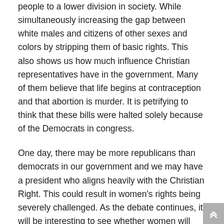people to a lower division in society. While simultaneously increasing the gap between white males and citizens of other sexes and colors by stripping them of basic rights. This also shows us how much influence Christian representatives have in the government. Many of them believe that life begins at contraception and that abortion is murder. It is petrifying to think that these bills were halted solely because of the Democrats in congress.
One day, there may be more republicans than democrats in our government and we may have a president who aligns heavily with the Christian Right. This could result in women's rights being severely challenged. As the debate continues, it will be interesting to see whether women will maintain these rights or whether the beliefs of the